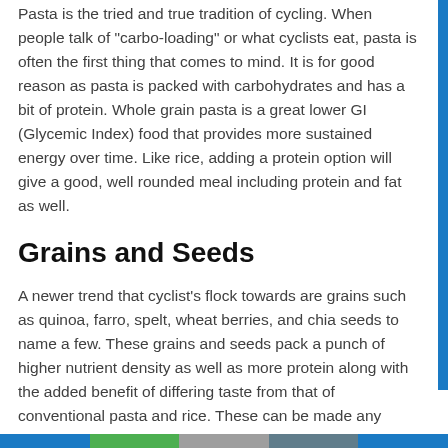Pasta is the tried and true tradition of cycling. When people talk of "carbo-loading" or what cyclists eat, pasta is often the first thing that comes to mind. It is for good reason as pasta is packed with carbohydrates and has a bit of protein. Whole grain pasta is a great lower GI (Glycemic Index) food that provides more sustained energy over time. Like rice, adding a protein option will give a good, well rounded meal including protein and fat as well.
Grains and Seeds
A newer trend that cyclist's flock towards are grains such as quinoa, farro, spelt, wheat berries, and chia seeds to name a few. These grains and seeds pack a punch of higher nutrient density as well as more protein along with the added benefit of differing taste from that of conventional pasta and rice. These can be made any